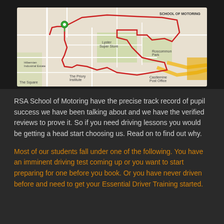[Figure (map): A street map showing driving routes marked with red lines in what appears to be an Irish town, with a green map pin marker indicating the school location. Yellow roads visible at the bottom right.]
RSA School of Motoring have the precise track record of pupil success we have been talking about and we have the verified reviews to prove it. So if you need driving lessons you would be getting a head start choosing us. Read on to find out why.
Most of our students fall under one of the following. You have an imminent driving test coming up or you want to start preparing for one before you book. Or you have never driven before and need to get your Essential Driver Training started.